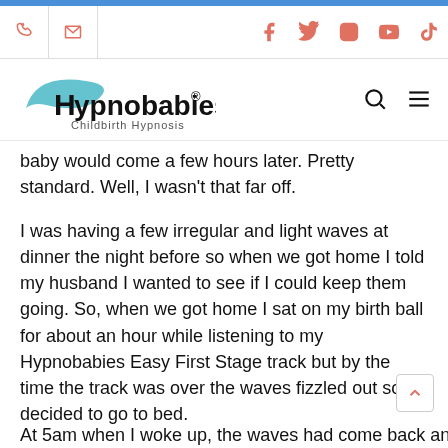Hypnobabies® Childbirth Hypnosis — navigation bar with phone, email, Facebook, Twitter, Instagram, YouTube, TikTok icons
baby would come a few hours later. Pretty standard. Well, I wasn't that far off.
I was having a few irregular and light waves at dinner the night before so when we got home I told my husband I wanted to see if I could keep them going. So, when we got home I sat on my birth ball for about an hour while listening to my Hypnobabies Easy First Stage track but by the time the track was over the waves fizzled out so I decided to go to bed.